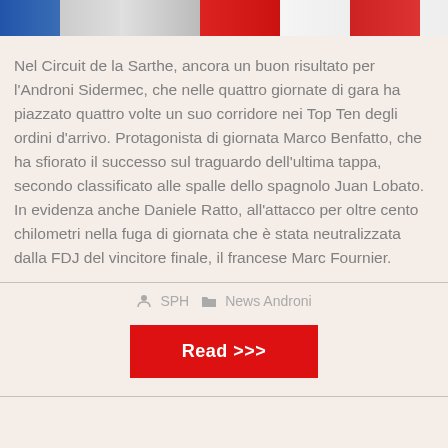[Figure (photo): Cropped top strip of cycling race photo showing jerseys in blue, red, and white colors]
Nel Circuit de la Sarthe, ancora un buon risultato per l'Androni Sidermec, che nelle quattro giornate di gara ha piazzato quattro volte un suo corridore nei Top Ten degli ordini d'arrivo. Protagonista di giornata Marco Benfatto, che ha sfiorato il successo sul traguardo dell'ultima tappa, secondo classificato alle spalle dello spagnolo Juan Lobato. In evidenza anche Daniele Ratto, all'attacco per oltre cento chilometri nella fuga di giornata che è stata neutralizzata dalla FDJ del vincitore finale, il francese Marc Fournier.
SPH   News Androni
Read >>>